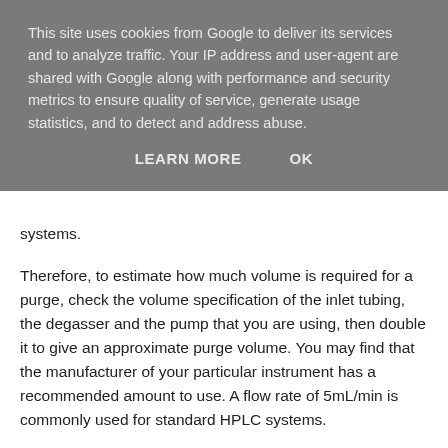This site uses cookies from Google to deliver its services and to analyze traffic. Your IP address and user-agent are shared with Google along with performance and security metrics to ensure quality of service, generate usage statistics, and to detect and address abuse.
LEARN MORE   OK
systems.
Therefore, to estimate how much volume is required for a purge, check the volume specification of the inlet tubing, the degasser and the pump that you are using, then double it to give an approximate purge volume. You may find that the manufacturer of your particular instrument has a recommended amount to use. A flow rate of 5mL/min is commonly used for standard HPLC systems.
If you have a mixture of different brands of HPLC instruments (and degassers) within one laboratory and want the procedure to cover them all then find out which requires the longest purge and use that as the default."